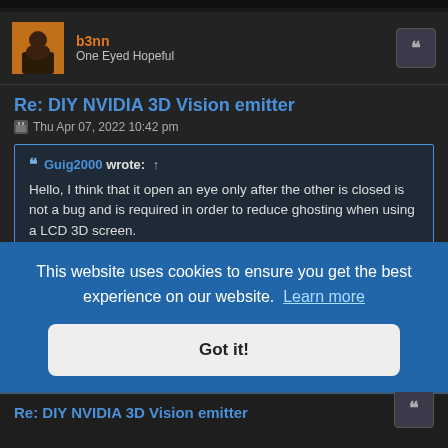b3nn
One Eyed Hopeful
Re: DIY NVIDIA 3D Vision emitter
Thu Apr 07, 2022 10:42 pm
Guig2000 wrote: ↑
Hello, I think that it open an eye only after the other is closed is not a bug and is required in order to reduce ghosting when using a LCD 3D screen.
Totally agree. The old code never had both eyes open at the same time, but did have a larger gap of time when both eyes were closed. That seemed to make the screen appear much dimmer. With the change I [opening] [conds is]
This website uses cookies to ensure you get the best experience on our website. Learn more
Got it!
Re: DIY NVIDIA 3D Vision emitter